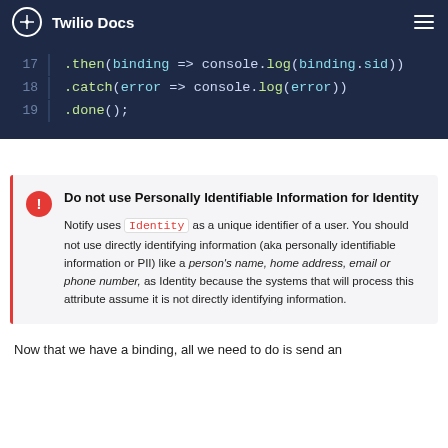Twilio Docs
[Figure (screenshot): Code block showing JavaScript lines 17-19: .then(binding => console.log(binding.sid)), .catch(error => console.log(error)), .done();]
Do not use Personally Identifiable Information for Identity
Notify uses Identity as a unique identifier of a user. You should not use directly identifying information (aka personally identifiable information or PII) like a person's name, home address, email or phone number, as Identity because the systems that will process this attribute assume it is not directly identifying information.
Now that we have a binding, all we need to do is send an